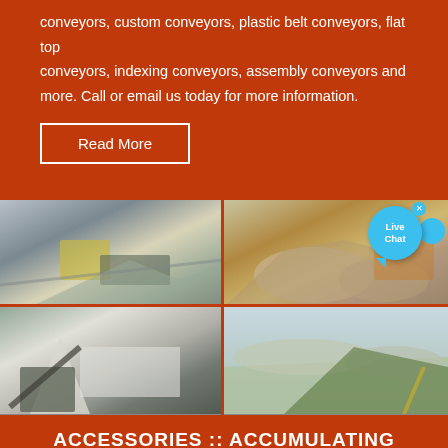conveyors, custom conveyors, plastic belt conveyors, flat top conveyors, indexing conveyors, assembly conveyors and more. Call or email us today for more information.
Read More
[Figure (photo): Industrial quarry/mining conveyor equipment with dust in a rocky quarry setting]
[Figure (photo): Large industrial conveyor system with piles of aggregate/gravel material and yellow/orange machinery]
[Figure (photo): Mobile conveyor/crushing equipment near a warehouse building with worker visible]
[Figure (photo): Stockpiles of gravel/aggregate material with forest in background and conveyor equipment]
ACCESSORIES :: ACCUMULATING